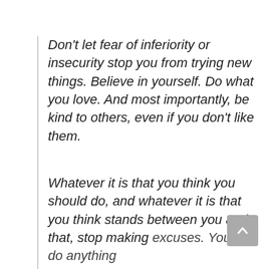Don't let fear of inferiority or insecurity stop you from trying new things. Believe in yourself. Do what you love. And most importantly, be kind to others, even if you don't like them.
Whatever it is that you think you should do, and whatever it is that you think stands between you and that, stop making excuses. You can do anything